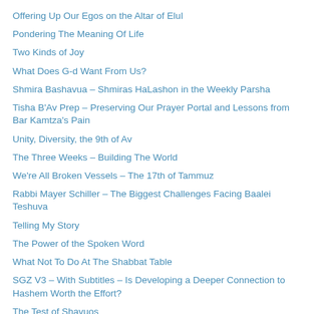Offering Up Our Egos on the Altar of Elul
Pondering The Meaning Of Life
Two Kinds of Joy
What Does G-d Want From Us?
Shmira Bashavua – Shmiras HaLashon in the Weekly Parsha
Tisha B'Av Prep – Preserving Our Prayer Portal and Lessons from Bar Kamtza's Pain
Unity, Diversity, the 9th of Av
The Three Weeks – Building The World
We're All Broken Vessels – The 17th of Tammuz
Rabbi Mayer Schiller – The Biggest Challenges Facing Baalei Teshuva
Telling My Story
The Power of the Spoken Word
What Not To Do At The Shabbat Table
SGZ V3 – With Subtitles – Is Developing a Deeper Connection to Hashem Worth the Effort?
The Test of Shavuos